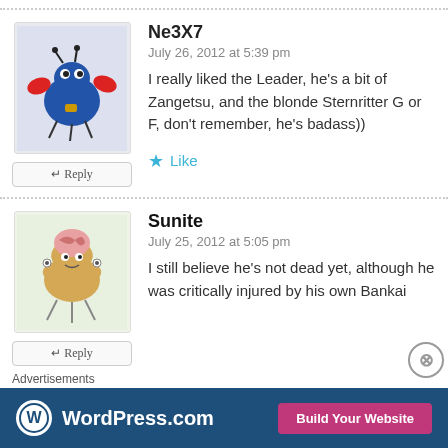[Figure (illustration): Avatar image of a cartoon bird-crab hybrid creature in blue and red on a light blue background]
Ne3X7
July 26, 2012 at 5:39 pm
I really liked the Leader, he's a bit of Zangetsu, and the blonde Sternritter G or F, don't remember, he's badass))
Like
[Figure (illustration): Avatar image of a cartoon brain-flower hybrid creature on a light green background]
Sunite
July 25, 2012 at 5:05 pm
I still believe he's not dead yet, although he was critically injured by his own Bankai
Advertisements
[Figure (logo): WordPress.com advertisement banner with Build Your Website button]